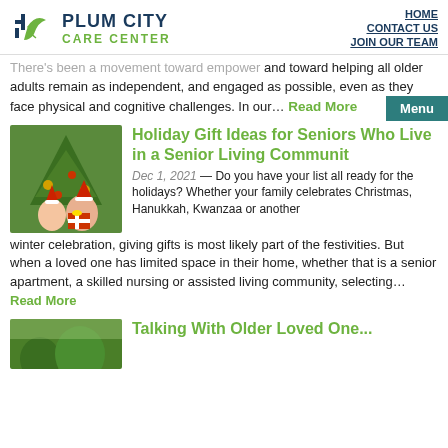PLUM CITY CARE CENTER — HOME | CONTACT US | JOIN OUR TEAM
There's been a movement toward empowering and toward helping all older adults remain as independent, and engaged as possible, even as they face physical and cognitive challenges. In our… Read More
Holiday Gift Ideas for Seniors Who Live in a Senior Living Communit
Dec 1, 2021 — Do you have your list all ready for the holidays? Whether your family celebrates Christmas, Hanukkah, Kwanzaa or another winter celebration, giving gifts is most likely part of the festivities. But when a loved one has limited space in their home, whether that is a senior apartment, a skilled nursing or assisted living community, selecting… Read More
Talking With Older Loved One...